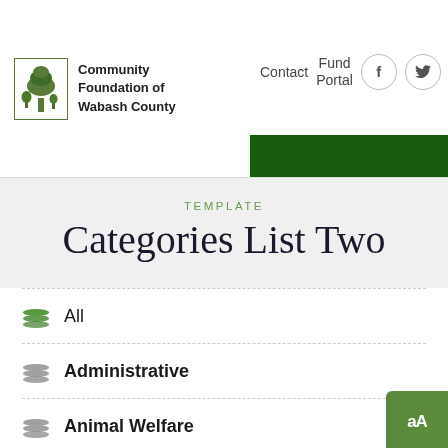[Figure (logo): Community Foundation of Wabash County logo with tree icon in a square border]
Contact  Fund Portal  [Facebook] [Twitter] [Search] [Hamburger menu]
TEMPLATE
Categories List Two
All
Administrative
Animal Welfare